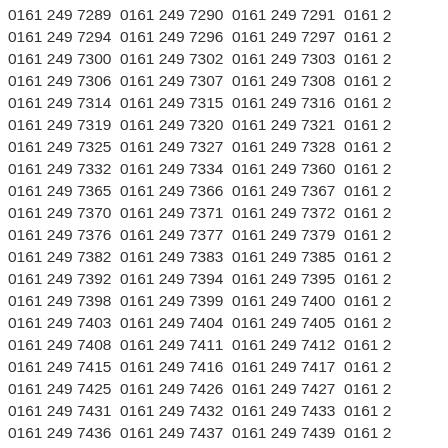0161 249 7289  0161 249 7290  0161 249 7291  0161 2...
0161 249 7294  0161 249 7296  0161 249 7297  0161 2...
0161 249 7300  0161 249 7302  0161 249 7303  0161 2...
0161 249 7306  0161 249 7307  0161 249 7308  0161 2...
0161 249 7314  0161 249 7315  0161 249 7316  0161 2...
0161 249 7319  0161 249 7320  0161 249 7321  0161 2...
0161 249 7325  0161 249 7327  0161 249 7328  0161 2...
0161 249 7332  0161 249 7334  0161 249 7360  0161 2...
0161 249 7365  0161 249 7366  0161 249 7367  0161 2...
0161 249 7370  0161 249 7371  0161 249 7372  0161 2...
0161 249 7376  0161 249 7377  0161 249 7379  0161 2...
0161 249 7382  0161 249 7383  0161 249 7385  0161 2...
0161 249 7392  0161 249 7394  0161 249 7395  0161 2...
0161 249 7398  0161 249 7399  0161 249 7400  0161 2...
0161 249 7403  0161 249 7404  0161 249 7405  0161 2...
0161 249 7408  0161 249 7411  0161 249 7412  0161 2...
0161 249 7415  0161 249 7416  0161 249 7417  0161 2...
0161 249 7425  0161 249 7426  0161 249 7427  0161 2...
0161 249 7431  0161 249 7432  0161 249 7433  0161 2...
0161 249 7436  0161 249 7437  0161 249 7439  0161 2...